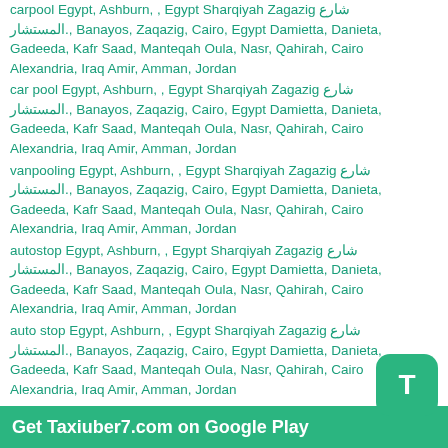carpool Egypt, Ashburn, , Egypt Sharqiyah Zagazig شارع المستشار., Banayos, Zaqazig, Cairo, Egypt Damietta, Danieta, Gadeeda, Kafr Saad, Manteqah Oula, Nasr, Qahirah, Cairo Alexandria, Iraq Amir, Amman, Jordan
car pool Egypt, Ashburn, , Egypt Sharqiyah Zagazig شارع المستشار., Banayos, Zaqazig, Cairo, Egypt Damietta, Danieta, Gadeeda, Kafr Saad, Manteqah Oula, Nasr, Qahirah, Cairo Alexandria, Iraq Amir, Amman, Jordan
vanpooling Egypt, Ashburn, , Egypt Sharqiyah Zagazig شارع المستشار., Banayos, Zaqazig, Cairo, Egypt Damietta, Danieta, Gadeeda, Kafr Saad, Manteqah Oula, Nasr, Qahirah, Cairo Alexandria, Iraq Amir, Amman, Jordan
autostop Egypt, Ashburn, , Egypt Sharqiyah Zagazig شارع المستشار., Banayos, Zaqazig, Cairo, Egypt Damietta, Danieta, Gadeeda, Kafr Saad, Manteqah Oula, Nasr, Qahirah, Cairo Alexandria, Iraq Amir, Amman, Jordan
auto stop Egypt, Ashburn, , Egypt Sharqiyah Zagazig شارع المستشار., Banayos, Zaqazig, Cairo, Egypt Damietta, Danieta, Gadeeda, Kafr Saad, Manteqah Oula, Nasr, Qahirah, Cairo Alexandria, Iraq Amir, Amman, Jordan
avtostop Egypt, Ashburn, , Egypt Sharqiyah Zagazig شارع المستشار., Banayos, Zaqazig, Cairo, Egypt Damietta, D..., Gadeeda, Kafr Saad, Manteqah Oula, Nasr, Qahirah, Cairo Alexandria, Iraq Amir, Amman, Jordan
avto stop Egypt, Ashburn, , Egypt Sharqiyah Zagazig شارع...